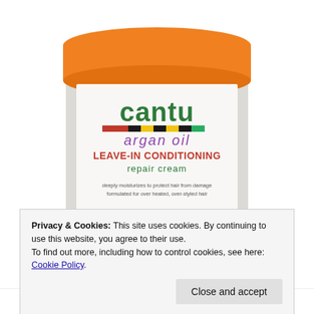[Figure (photo): Cantu Argan Oil Leave-In Conditioning Repair Cream jar with orange lid on white background. Label shows 'cantu' in green, 'argan oil' in purple, 'LEAVE-IN CONDITIONING' in magenta/green, 'repair cream' in green, with a multicolored stripe (red, black, yellow, green) and small text about moisturizing and protecting hair.]
Privacy & Cookies: This site uses cookies. By continuing to use this website, you agree to their use.
To find out more, including how to control cookies, see here: Cookie Policy
Close and accept
important while I switch from wig to wig.